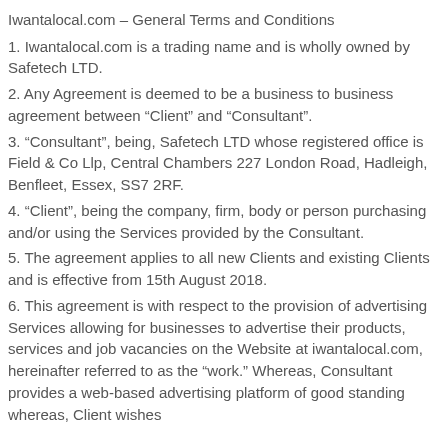Iwantalocal.com – General Terms and Conditions
1. Iwantalocal.com is a trading name and is wholly owned by Safetech LTD.
2. Any Agreement is deemed to be a business to business agreement between “Client” and “Consultant”.
3. “Consultant”, being, Safetech LTD whose registered office is Field & Co Llp, Central Chambers 227 London Road, Hadleigh, Benfleet, Essex, SS7 2RF.
4. “Client”, being the company, firm, body or person purchasing and/or using the Services provided by the Consultant.
5. The agreement applies to all new Clients and existing Clients and is effective from 15th August 2018.
6. This agreement is with respect to the provision of advertising Services allowing for businesses to advertise their products, services and job vacancies on the Website at iwantalocal.com, hereinafter referred to as the “work.” Whereas, Consultant provides a web-based advertising platform of good standing whereas, Client wishes